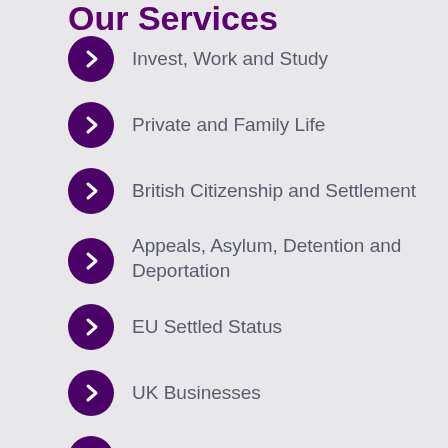Our Services
Invest, Work and Study
Private and Family Life
British Citizenship and Settlement
Appeals, Asylum, Detention and Deportation
EU Settled Status
UK Businesses
Immigration Advice: All Other Types
British Passport Applications from